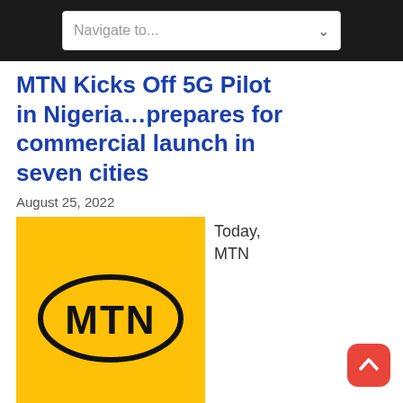Navigate to...
MTN Kicks Off 5G Pilot in Nigeria…prepares for commercial launch in seven cities
August 25, 2022
[Figure (logo): MTN logo: yellow square background with a black oval border containing bold black text 'MTN']
Today, MTN
Nigeria Communications Plc (MTN Nigeria, or the Company) kicked